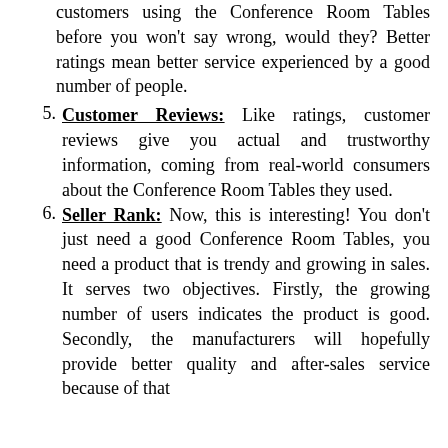continuation: customers using the Conference Room Tables before you won't say wrong, would they? Better ratings mean better service experienced by a good number of people.
5. Customer Reviews: Like ratings, customer reviews give you actual and trustworthy information, coming from real-world consumers about the Conference Room Tables they used.
6. Seller Rank: Now, this is interesting! You don't just need a good Conference Room Tables, you need a product that is trendy and growing in sales. It serves two objectives. Firstly, the growing number of users indicates the product is good. Secondly, the manufacturers will hopefully provide better quality and after-sales service because of that